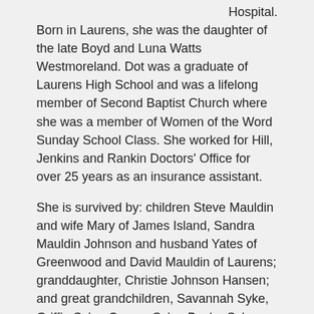Hospital.
Born in Laurens, she was the daughter of the late Boyd and Luna Watts Westmoreland. Dot was a graduate of Laurens High School and was a lifelong member of Second Baptist Church where she was a member of Women of the Word Sunday School Class. She worked for Hill, Jenkins and Rankin Doctors' Office for over 25 years as an insurance assistant.
She is survived by: children Steve Mauldin and wife Mary of James Island, Sandra Mauldin Johnson and husband Yates of Greenwood and David Mauldin of Laurens; granddaughter, Christie Johnson Hansen; and great grandchildren, Savannah Syke, Griffin Syke, Carsen Syke, Baylor Syke, and Gehrig Hansen.
A private funeral service will be held Wednesday, May 13, 2020, at The Kennedy Mortuary Chapel conducted by Rev. J.D. Shiflet with burial following in Westview Memorial Park.
In addition to her husband and parents, she was predeceased by a brother Boyd Wendell Westmoreland.
In lieu of flowers, memorials may be made to Second Baptist